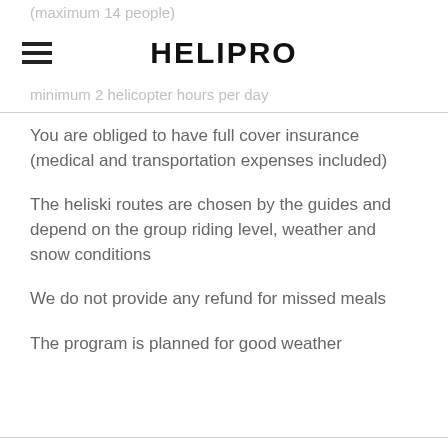(maximum 14 people)
HELIPRO
minimum 2 helicopter hours per day
You are obliged to have full cover insurance (medical and transportation expenses included)
The heliski routes are chosen by the guides and depend on the group riding level, weather and snow conditions
We do not provide any refund for missed meals
The program is planned for good weather